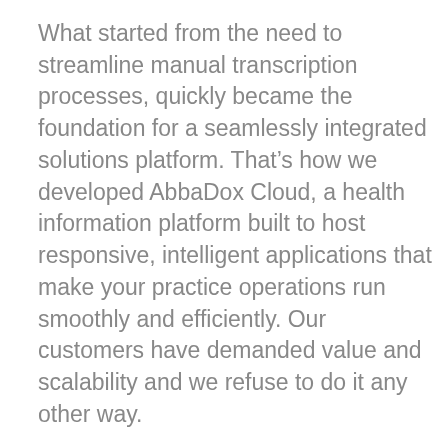What started from the need to streamline manual transcription processes, quickly became the foundation for a seamlessly integrated solutions platform. That’s how we developed AbbaDox Cloud, a health information platform built to host responsive, intelligent applications that make your practice operations run smoothly and efficiently. Our customers have demanded value and scalability and we refuse to do it any other way.
After 15+ years of innovation, client feedback and industry research, we have developed a suite of mission-